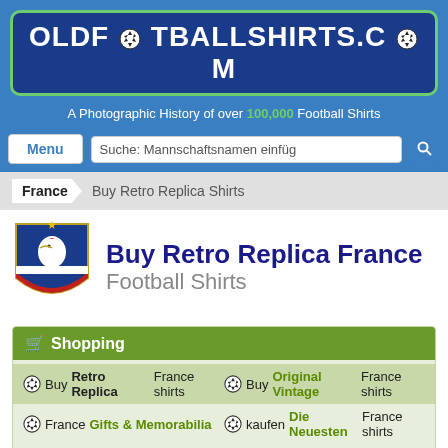[Figure (logo): OldFootballShirts.com logo: white text on dark blue background with green rounded border, soccer ball replacing the 'O' in .COM]
A Photographic History of over 100,000 Football Shirts
Menu
Suche: Mannschaftsnamen einfüg
France  Buy Retro Replica Shirts
[Figure (logo): FFF France football federation crest logo]
Buy Retro Replica France Football Shirts
Shopping
Buy Retro Replica France shirts
Buy Original Vintage France shirts
France Gifts & Memorabilia
kaufen Die Neuesten France shirts
kaufen Alt France shirts in ebay
Reproduction shirts and jerseys from years gone by